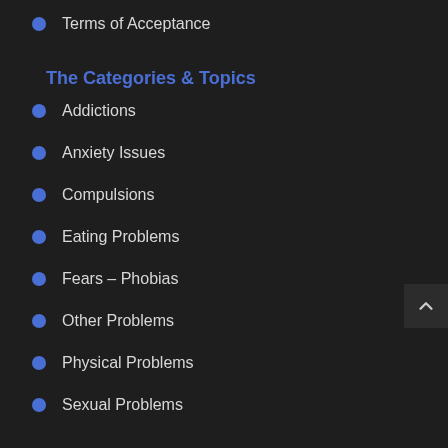Terms of Acceptance
The Categories & Topics
Addictions
Anxiety Issues
Compulsions
Eating Problems
Fears – Phobias
Other Problems
Physical Problems
Sexual Problems
Recent Posts
The Beneficial Effects of Hypnotherapy (Hypnosis)